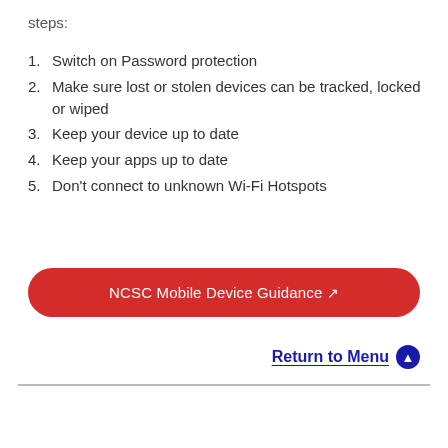steps:
1. Switch on Password protection
2. Make sure lost or stolen devices can be tracked, locked or wiped
3. Keep your device up to date
4. Keep your apps up to date
5. Don't connect to unknown Wi-Fi Hotspots
NCSC Mobile Device Guidance
Return to Menu